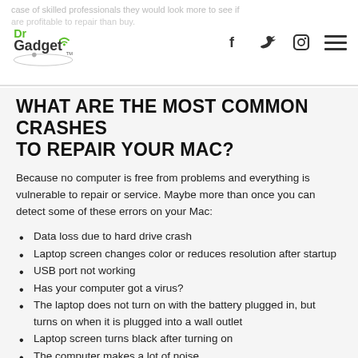Dr Gadget logo with social media icons (Facebook, Twitter, Instagram) and hamburger menu
WHAT ARE THE MOST COMMON CRASHES TO REPAIR YOUR MAC?
Because no computer is free from problems and everything is vulnerable to repair or service. Maybe more than once you can detect some of these errors on your Mac:
Data loss due to hard drive crash
Laptop screen changes color or reduces resolution after startup
USB port not working
Has your computer got a virus?
The laptop does not turn on with the battery plugged in, but turns on when it is plugged into a wall outlet
Laptop screen turns black after turning on
The computer makes a lot of noise
Computer does not turn on or shuts down unexpectedly